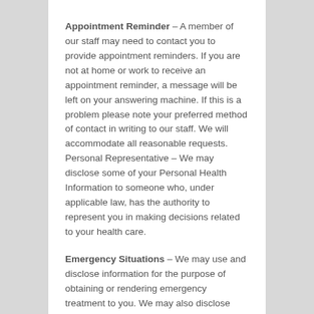Appointment Reminder – A member of our staff may need to contact you to provide appointment reminders. If you are not at home or work to receive an appointment reminder, a message will be left on your answering machine. If this is a problem please note your preferred method of contact in writing to our staff. We will accommodate all reasonable requests. Personal Representative – We may disclose some of your Personal Health Information to someone who, under applicable law, has the authority to represent you in making decisions related to your health care.
Emergency Situations – We may use and disclose information for the purpose of obtaining or rendering emergency treatment to you. We may also disclose your health